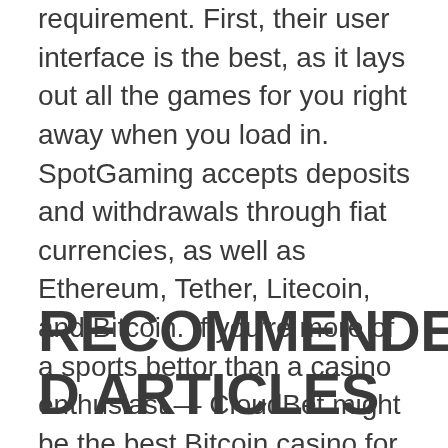contribute to the wagering requirement. First, their user interface is the best, as it lays out all the games for you right away when you load in. SpotGaming accepts deposits and withdrawals through fiat currencies, as well as Ethereum, Tether, Litecoin, and Bitcoin. If you're more of a sports bettor than a casino enthusiast — CloudBet might be the best Bitcoin casino for you.
RECOMMENDED ARTICLES